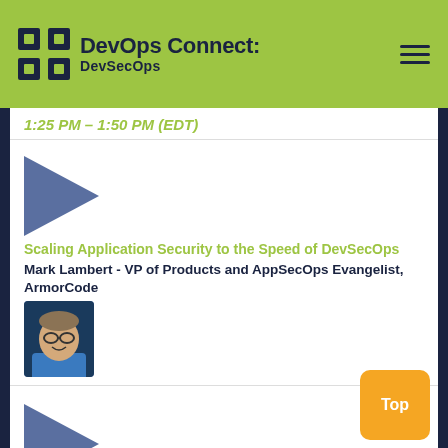DevOps Connect: DevSecOps
1:25 PM – 1:50 PM (EDT)
[Figure (illustration): Blue/slate triangle pointing right, used as a decorative icon]
Scaling Application Security to the Speed of DevSecOps
Mark Lambert - VP of Products and AppSecOps Evangelist, ArmorCode
[Figure (photo): Headshot of Mark Lambert, smiling man with glasses wearing a blue shirt]
[Figure (illustration): Blue/slate triangle pointing right, used as a decorative icon]
Cloud-Native and DevSecOps